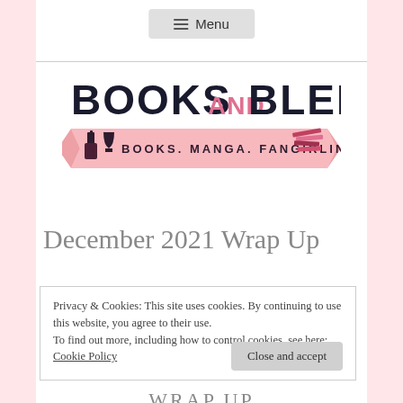Menu
[Figure (logo): Books and Blends logo — large text 'BOOKS AND BLENDS' with 'and' in pink, subtitle on a pink ribbon banner: 'BOOKS. MANGA. FANGIRLING' with wine bottle and books icons]
December 2021 Wrap Up
Privacy & Cookies: This site uses cookies. By continuing to use this website, you agree to their use.
To find out more, including how to control cookies, see here: Cookie Policy
Close and accept
WRAP UP